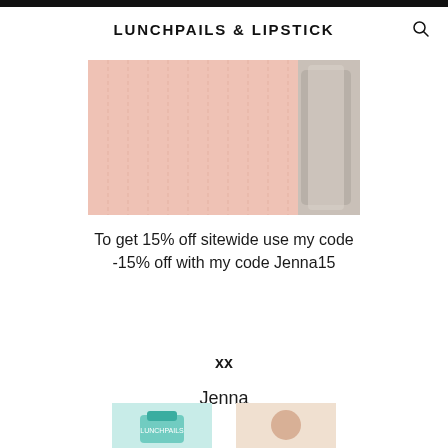LUNCHPAILS & LIPSTICK
[Figure (photo): Close-up of a pink knit sweater/garment hanging, with a metallic object visible in the background]
To get 15% off sitewide use my code -15% off with my code Jenna15
xx
Jenna
[Figure (photo): Thumbnail image with teal/turquoise background showing a small product]
[Figure (photo): Thumbnail image with light peach/beige background]